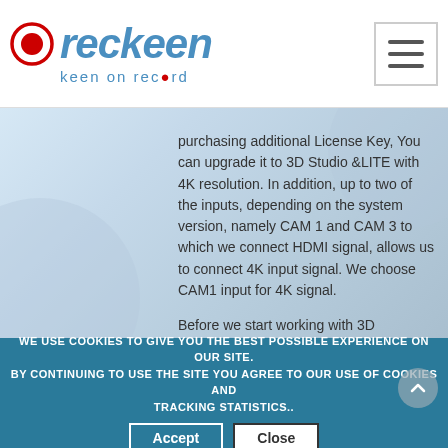reckeen - keen on record
purchasing additional License Key, You can upgrade it to 3D Studio &LITE with 4K resolution. In addition, up to two of the inputs, depending on the system version, namely CAM 1 and CAM 3 to which we connect HDMI signal, allows us to connect 4K input signal. We choose CAM1 input for 4K signal. Before we start working with 3D PRODUCTION or LITE PRODUCTION application, in the STARTUP module, we have to select an appropriate video output format. We do this using a drop-down list located below the buttons. This time, we have added new output formats, labeled 2160p. Picture below. They are characterized by four times the number of pixels compared to Full HD
WE USE COOKIES TO GIVE YOU THE BEST POSSIBLE EXPERIENCE ON OUR SITE. BY CONTINUING TO USE THE SITE YOU AGREE TO OUR USE OF COOKIES AND TRACKING STATISTICS.. Accept Close